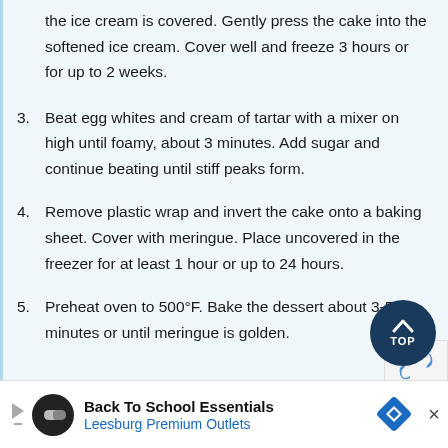the ice cream is covered. Gently press the cake into the softened ice cream. Cover well and freeze 3 hours or for up to 2 weeks.
3. Beat egg whites and cream of tartar with a mixer on high until foamy, about 3 minutes. Add sugar and continue beating until stiff peaks form.
4. Remove plastic wrap and invert the cake onto a baking sheet. Cover with meringue. Place uncovered in the freezer for at least 1 hour or up to 24 hours.
5. Preheat oven to 500°F. Bake the dessert about 3-5 minutes or until meringue is golden.
[Figure (other): Dark blue circular 'TOP' button with upward chevron arrow]
[Figure (other): reCAPTCHA logo partial]
Back To School Essentials Leesburg Premium Outlets advertisement banner